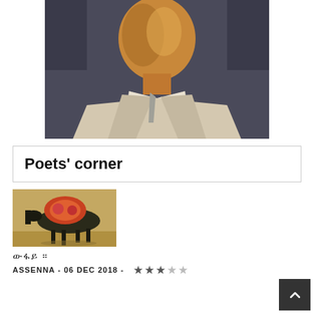[Figure (photo): Portrait painting of a man in a suit with a tie, painted in warm brownish-yellow tones against a dark background]
Poets' corner
[Figure (photo): A camel/dog-like animal with faces photoshopped onto its body, standing in a desert-like environment]
ውፋይ ።
ASSENNA - 06 DEC 2018 - ★★★☆☆